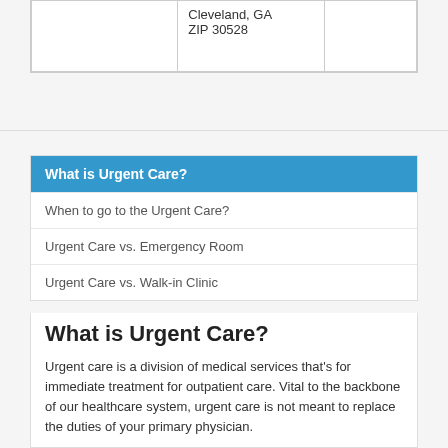|  | Cleveland, GA ZIP 30528 |  |
| --- | --- | --- |
|  | Cleveland, GA
ZIP 30528 |  |
What is Urgent Care?
When to go to the Urgent Care?
Urgent Care vs. Emergency Room
Urgent Care vs. Walk-in Clinic
What is Urgent Care?
Urgent care is a division of medical services that's for immediate treatment for outpatient care. Vital to the backbone of our healthcare system, urgent care is not meant to replace the duties of your primary physician.
[Read More...]